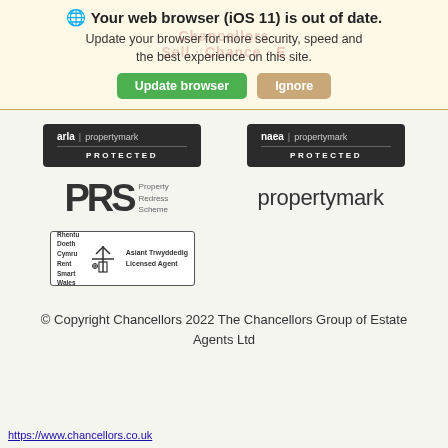⚠ Your web browser (iOS 11) is out of date. Update your browser for more security, speed and the best experience on this site.
[Figure (screenshot): Browser update warning banner with 'Update browser' green button and 'Ignore' tan button, with Chancellors watermark overlay]
[Figure (logo): arla | propertymark PROTECTED badge (dark background)]
[Figure (logo): naea | propertymark PROTECTED badge (dark background)]
[Figure (logo): PRS Property Redress Scheme logo]
[Figure (logo): propertymark text logo]
[Figure (logo): Rent Smart Wales / Rhentu Doeth Cymru Licensed Agent badge]
© Copyright Chancellors 2022 The Chancellors Group of Estate Agents Ltd
https://www.chancellors.co.uk